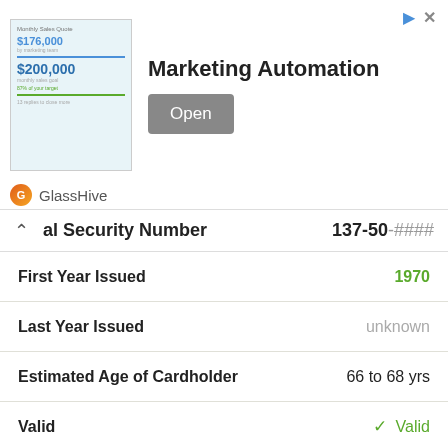[Figure (screenshot): GlassHive Marketing Automation advertisement banner with dashboard image showing $176,000 and $200,000 figures, Open button, and GlassHive branding]
| Field | Value |
| --- | --- |
| Social Security Number | 137-50-#### |
| First Year Issued | 1970 |
| Last Year Issued | unknown |
| Estimated Age of Cardholder | 66 to 68 yrs |
| Valid | ✓ Valid |
| Social Security Number | 137-52-#### |
| First Year Issued | 1971 |
| Last Year Issued | unknown |
| Estimated Age of Cardholder | 65 to 67 yrs |